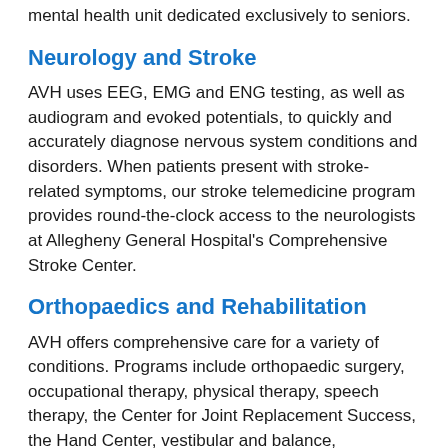mental health unit dedicated exclusively to seniors.
Neurology and Stroke
AVH uses EEG, EMG and ENG testing, as well as audiogram and evoked potentials, to quickly and accurately diagnose nervous system conditions and disorders. When patients present with stroke-related symptoms, our stroke telemedicine program provides round-the-clock access to the neurologists at Allegheny General Hospital's Comprehensive Stroke Center.
Orthopaedics and Rehabilitation
AVH offers comprehensive care for a variety of conditions. Programs include orthopaedic surgery, occupational therapy, physical therapy, speech therapy, the Center for Joint Replacement Success, the Hand Center, vestibular and balance,